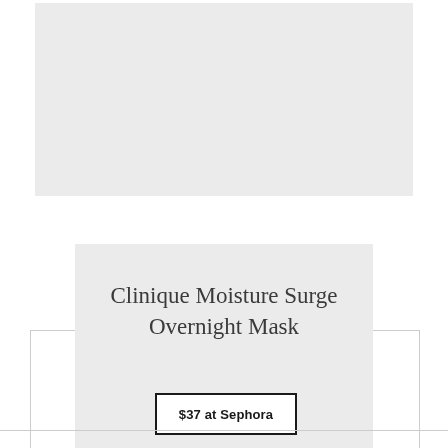[Figure (other): Gray placeholder image block at the top of the page]
Clinique Moisture Surge Overnight Mask
$37 at Sephora